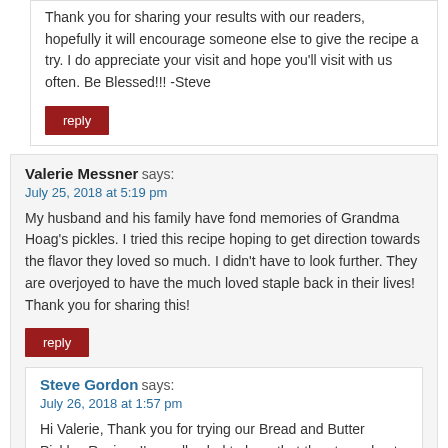Thank you for sharing your results with our readers, hopefully it will encourage someone else to give the recipe a try. I do appreciate your visit and hope you'll visit with us often. Be Blessed!!! -Steve
reply
Valerie Messner says:
July 25, 2018 at 5:19 pm
My husband and his family have fond memories of Grandma Hoag's pickles. I tried this recipe hoping to get direction towards the flavor they loved so much. I didn't have to look further. They are overjoyed to have the much loved staple back in their lives! Thank you for sharing this!
reply
Steve Gordon says:
July 26, 2018 at 1:57 pm
Hi Valerie, Thank you for trying our Bread and Butter Pickles Recipe. I'm really glad to hear that they turned out well for you.